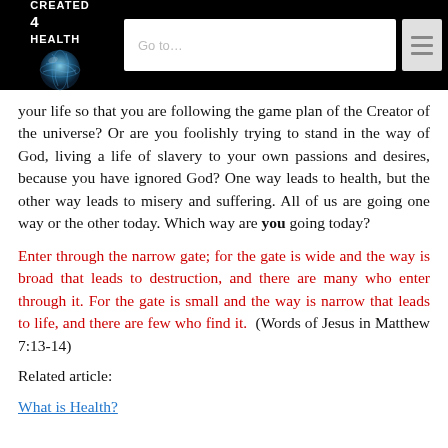CREATED 4 HEALTH
your life so that you are following the game plan of the Creator of the universe? Or are you foolishly trying to stand in the way of God, living a life of slavery to your own passions and desires, because you have ignored God? One way leads to health, but the other way leads to misery and suffering. All of us are going one way or the other today. Which way are you going today?
Enter through the narrow gate; for the gate is wide and the way is broad that leads to destruction, and there are many who enter through it. For the gate is small and the way is narrow that leads to life, and there are few who find it.  (Words of Jesus in Matthew 7:13-14)
Related article:
What is Health?